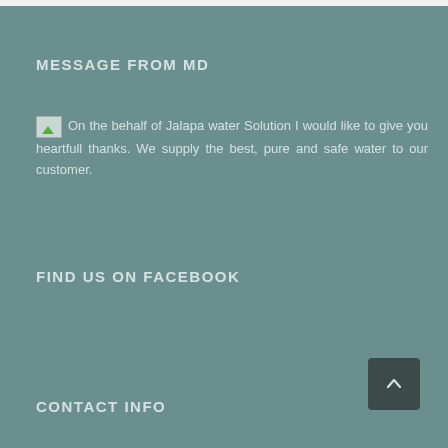MESSAGE FROM MD
On the behalf of Jalapa water Solution I would like to give you heartfull thanks. We supply the best, pure and safe water to our customer.
FIND US ON FACEBOOK
CONTACT INFO